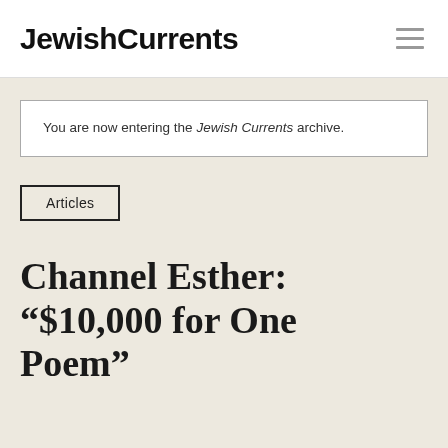Jewish Currents
You are now entering the Jewish Currents archive.
Articles
Channel Esther: “$10,000 for One Poem”